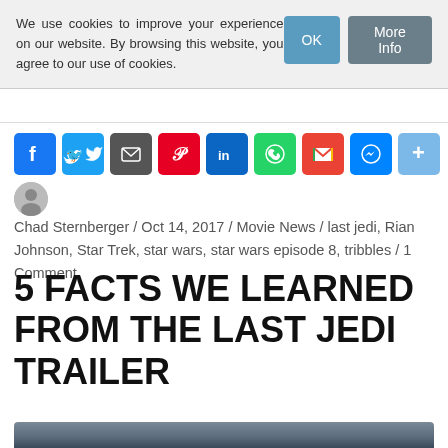We use cookies to improve your experience on our website. By browsing this website, you agree to our use of cookies.
[Figure (infographic): Social sharing buttons: Facebook, Twitter, Email, Pinterest, LinkedIn, WhatsApp, Gmail, Messenger, More]
Chad Sternberger / Oct 14, 2017 / Movie News / last jedi, Rian Johnson, Star Trek, star wars, star wars episode 8, tribbles / 1 Comment
5 FACTS WE LEARNED FROM THE LAST JEDI TRAILER
[Figure (photo): Bottom portion of article header image, partially visible]